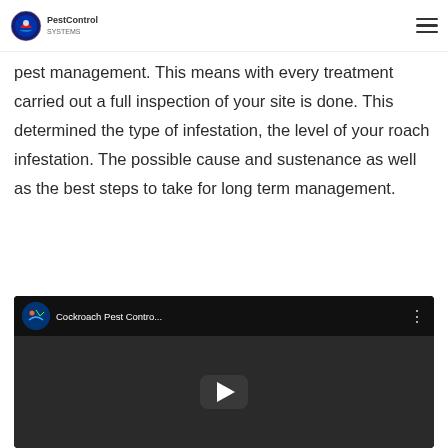PestControl
pest management. This means with every treatment carried out a full inspection of your site is done. This determined the type of infestation, the level of your roach infestation. The possible cause and sustenance as well as the best steps to take for long term management.
[Figure (screenshot): Embedded YouTube video thumbnail showing 'Cockroach Pest Contro...' with a play button, dark/grayscale background showing cockroaches, channel icon for Alluretz Group]